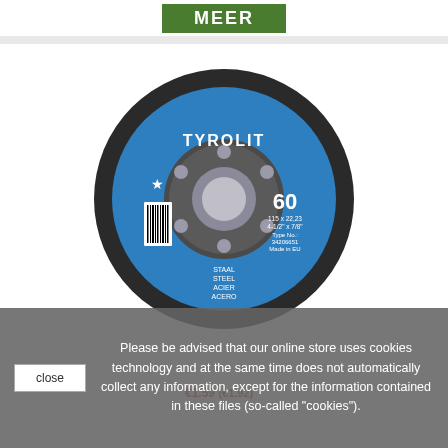MEER
[Figure (photo): Tyrolit brand abrasive flap disc (grinding wheel), blue label, grit 60, 115x22.23mm, for use on steel/staal/acier/acero. Product number 34206651. Made in EU.]
€1.59 (€1.92)
Please be advised that our online store uses cookies technology and at the same time does not automatically collect any information, except for the information contained in these files (so-called "cookies").
close